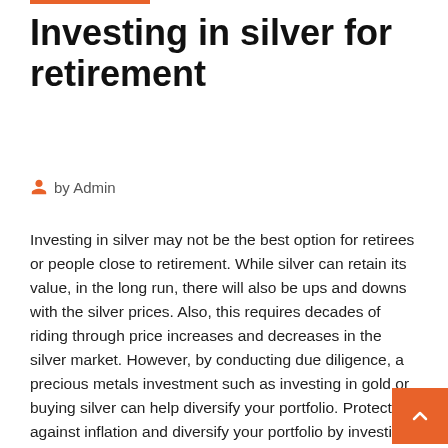Investing in silver for retirement
by Admin
Investing in silver may not be the best option for retirees or people close to retirement. While silver can retain its value, in the long run, there will also be ups and downs with the silver prices. Also, this requires decades of riding through price increases and decreases in the silver market. However, by conducting due diligence, a precious metals investment such as investing in gold or buying silver can help diversify your portfolio. Protect against inflation and diversify your portfolio by investing in precious metals. Learn more about precious metals and find out what products are available at 28 Feb 2020 American Hartford Gold Group specializes in Gold and Silver IRAs and buying and selling gold and silver for physical